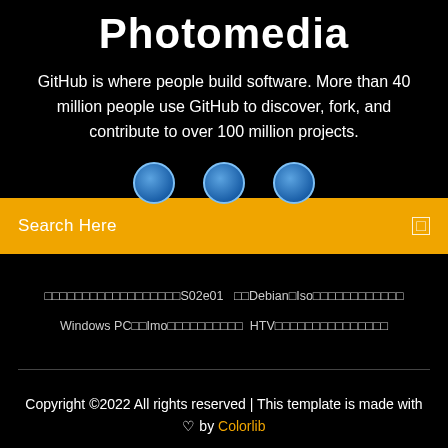Photomedia
GitHub is where people build software. More than 40 million people use GitHub to discover, fork, and contribute to over 100 million projects.
[Figure (illustration): Three blue circular avatar icons arranged horizontally, partially visible behind a gold search bar]
Search Here
□□□□□□□□□□□□□□□□□□S02e01   □□Debian□Iso□□□□□□□□□□□□□
Windows PC□□Imo□□□□□□□□□□□□   HTV□□□□□□□□□□□□□□□□
Copyright ©2022 All rights reserved | This template is made with ♡ by Colorlib